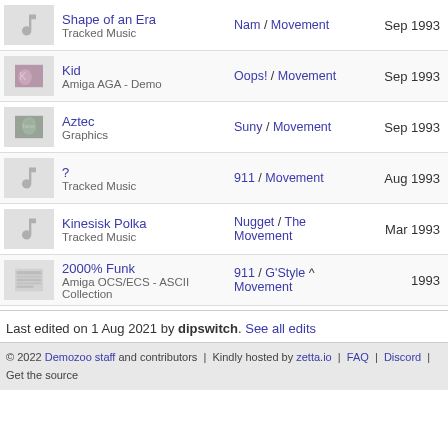Shape of an Era / Tracked Music — Nam / Movement — Sep 1993
Kid / Amiga AGA - Demo — Oops! / Movement — Sep 1993
Aztec / Graphics — Suny / Movement — Sep 1993
? / Tracked Music — 911 / Movement — Aug 1993
Kinesisk Polka / Tracked Music — Nugget / The Movement — Mar 1993
2000% Funk / Amiga OCS/ECS - ASCII Collection — 911 / G'Style ^ Movement — 1993
Last edited on 1 Aug 2021 by dipswitch. See all edits
© 2022 Demozoo staff and contributors | Kindly hosted by zetta.io | FAQ | Discord | Get the source